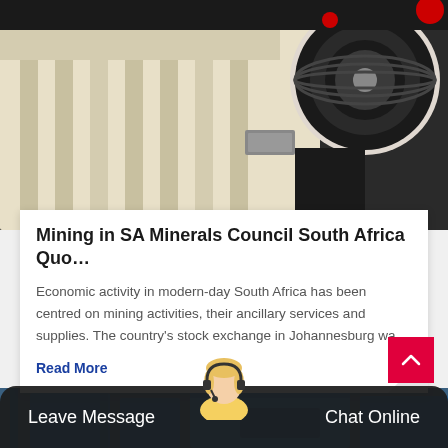[Figure (photo): Close-up photo of industrial mining jaw crusher machinery, cream/beige colored with black pulley belt system, against dark background]
Mining in SA Minerals Council South Africa Quo…
Economic activity in modern-day South Africa has been centred on mining activities, their ancillary services and supplies. The country's stock exchange in Johannesburg wa…
Read More
[Figure (photo): Photo of large industrial blue mining/crushing equipment inside a warehouse or factory building]
Leave Message   Chat Online